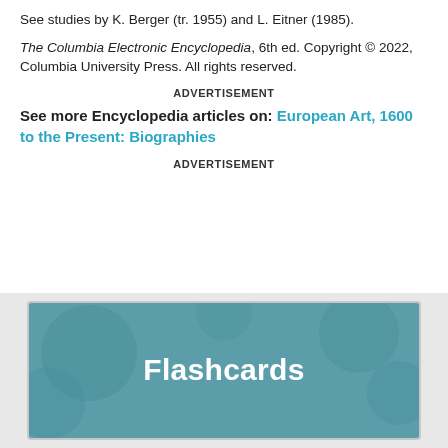See studies by K. Berger (tr. 1955) and L. Eitner (1985).
The Columbia Electronic Encyclopedia, 6th ed. Copyright © 2022, Columbia University Press. All rights reserved.
ADVERTISEMENT
See more Encyclopedia articles on: European Art, 1600 to the Present: Biographies
ADVERTISEMENT
[Figure (other): Flashcards promotional card with teal background and circular decorative elements, showing the word 'Flashcards' in large bold white text.]